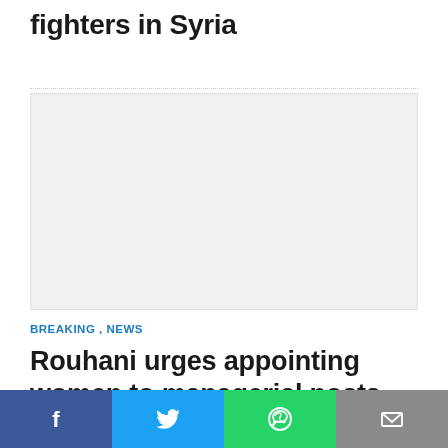fighters in Syria
[Figure (photo): Gray placeholder image for a news article]
BREAKING , NEWS
Rouhani urges appointing women to managerial posts
[Figure (infographic): Social media share bar with Facebook, Twitter, WhatsApp, and Email buttons]